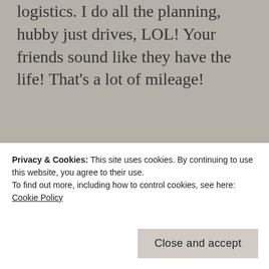logistics. I do all the planning, hubby just drives, LOL! Your friends sound like they have the life! That's a lot of mileage!
★ Liked by 1 person
LOG IN TO REPLY
Linda Schaub
JUNE 15, 2022 AT 6:26 PM
You are being ambitious. To mil...
Privacy & Cookies: This site uses cookies. By continuing to use this website, you agree to their use.
To find out more, including how to control cookies, see here: Cookie Policy
Close and accept
visit, plus had the jeep for